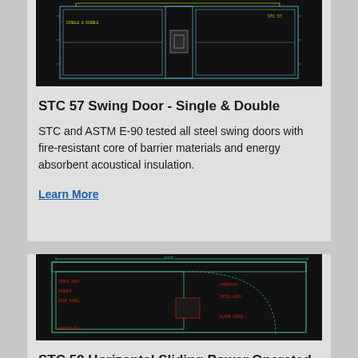[Figure (engineering-diagram): CAD technical drawing of STC 57 Swing Door showing cross-section view with dark background and yellow/white line annotations]
STC 57 Swing Door - Single & Double
STC and ASTM E-90 tested all steel swing doors with fire-resistant core of barrier materials and energy absorbent acoustical insulation.
Learn More
[Figure (engineering-diagram): CAD technical drawing of STC 59 Horizontal Sliding Power Operated Door showing plan view with dark background and red/green line annotations]
STC 59 Horizontal Sliding Power Operated Door